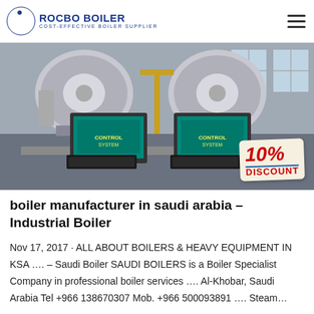ROCBO BOILER — COST-EFFECTIVE BOILER SUPPLIER
[Figure (photo): Industrial boiler manufacturing facility interior showing two large boiler units in the background and two computer monitor workstations in the foreground on a desk with keyboards. A '10% DISCOUNT' promotional badge overlaid in lower right corner.]
boiler manufacturer in saudi arabia – Industrial Boiler
Nov 17, 2017 · ALL ABOUT BOILERS & HEAVY EQUIPMENT IN KSA …. – Saudi Boiler SAUDI BOILERS is a Boiler Specialist Company in professional boiler services …. Al-Khobar, Saudi Arabia Tel +966 138670307 Mob. +966 500093891 …. Steam…